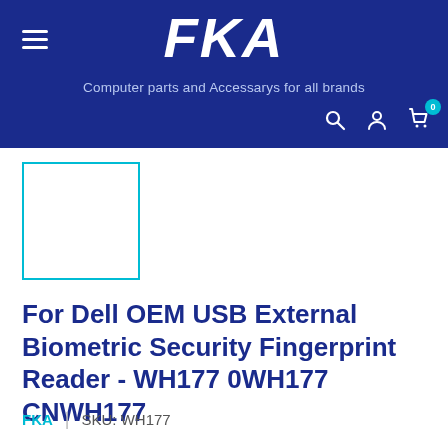FKA — Computer parts and Accessarys for all brands
[Figure (other): Product thumbnail placeholder image with teal border]
For Dell OEM USB External Biometric Security Fingerprint Reader - WH177 0WH177 CNWH177
FKA | SKU: WH177